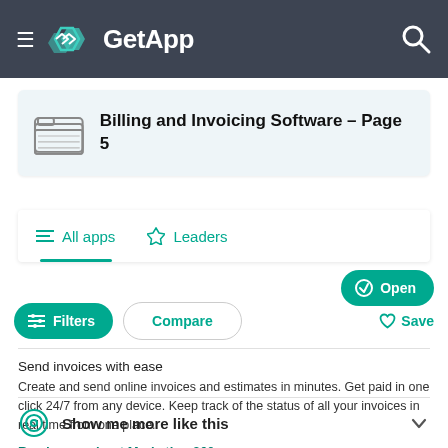GetApp
Billing and Invoicing Software – Page 5
All apps   Leaders
Filters   Compare   Open   Save
Send invoices with ease
Create and send online invoices and estimates in minutes. Get paid in one click 24/7 from any device. Keep track of the status of all your invoices in real time from one place.
Read more about Marketing 360
Show me more like this